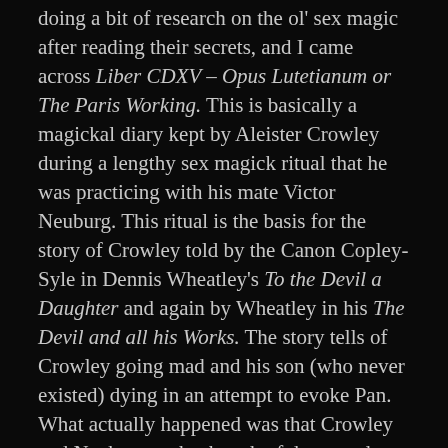doing a bit of research on the ol' sex magic after reading their secrets, and I came across Liber CDXV – Opus Lutetianum or The Paris Working. This is basically a magickal diary kept by Aleister Crowley during a lengthy sex magick ritual that he was practicing with his mate Victor Neuburg. This ritual is the basis for the story of Crowley told by the Canon Copley-Syle in Dennis Wheatley's To the Devil a Daughter and again by Wheatley in his The Devil and all his Works. The story tells of Crowley going mad and his son (who never existed) dying in an attempt to evoke Pan. What actually happened was that Crowley and Neuburg took a bunch of drugs and bummed the arses off each other. Fair play.
Read the cryptic account of their drugged-out bumming for...